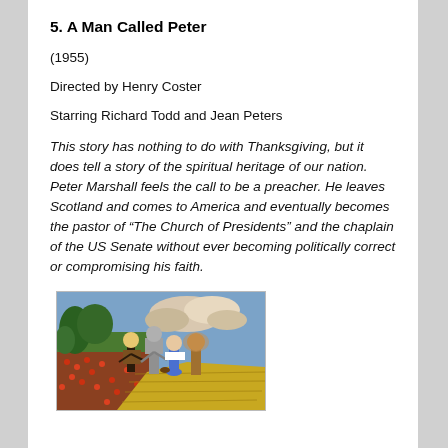5. A Man Called Peter
(1955)
Directed by Henry Coster
Starring Richard Todd and Jean Peters
This story has nothing to do with Thanksgiving, but it does tell a story of the spiritual heritage of our nation. Peter Marshall feels the call to be a preacher. He leaves Scotland and comes to America and eventually becomes the pastor of “The Church of Presidents” and the chaplain of the US Senate without ever becoming politically correct or compromising his faith.
[Figure (illustration): Painting of characters from The Wizard of Oz walking on the yellow brick road, with green fields and purple clouds in background.]